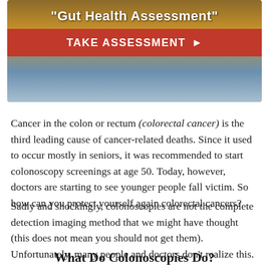[Figure (infographic): Gut Health Assessment banner with decorative background (warm gold/blue tones), bold white title text 'Gut Health Assessment' in quotes, and a red call-to-action button reading 'TAKE ASSESSMENT ▶']
Cancer in the colon or rectum (colorectal cancer) is the third leading cause of cancer-related deaths. Since it used to occur mostly in seniors, it was recommended to start colonoscopy screenings at age 50. Today, however, doctors are starting to see younger people fall victim. So how can you protect yourself again colorectal cancers?
Sadly and shockingly, colonoscopies are not the complete detection imaging method that we might have thought (this does not mean you should not get them). Unfortunately, many people and doctors don't realize this.
What Do Colonoscopies Do?